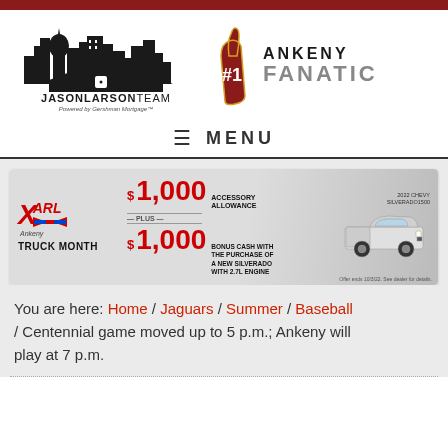[Figure (logo): Jason Larson Team logo with city skyline and house silhouette, text 'JASONLARSONTEAM Powered by Gershman Mortgage']
[Figure (logo): Ankeny Fanatic logo with foam finger and bold text 'ANKENY FANATIC']
≡  MENU
[Figure (infographic): Karl Chevrolet Truck Month advertisement banner: $1,000 Accessory Allowance PLUS $1,000 Bonus Cash with the purchase of a new Silverado with 2.7L Engine. Shows 2022 Chevy Silverado 1500. Offer ends 10/3/22. See dealer for details.]
You are here: Home / Jaguars / Summer / Baseball / Centennial game moved up to 5 p.m.; Ankeny will play at 7 p.m.